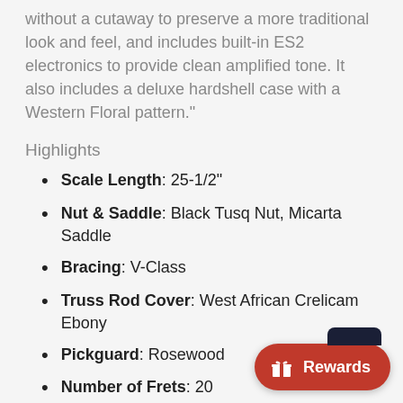without a cutaway to preserve a more traditional look and feel, and includes built-in ES2 electronics to provide clean amplified tone. It also includes a deluxe hardshell case with a Western Floral pattern."
Highlights
Scale Length: 25-1/2"
Nut & Saddle: Black Tusq Nut, Micarta Saddle
Bracing: V-Class
Truss Rod Cover: West African Crelicam Ebony
Pickguard: Rosewood
Number of Frets: 20
Tuners: Taylor Nickel